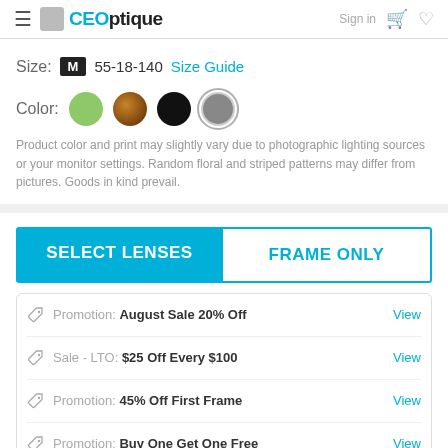CEOptique — Sign in, cart, wishlist
Size: M 55-18-140 Size Guide
[Figure (other): Color swatches: green, brown, black, gray (selected with circle outline)]
Product color and print may slightly vary due to photographic lighting sources or your monitor settings. Random floral and striped patterns may differ from pictures. Goods in kind prevail.
SELECT LENSES | FRAME ONLY
Promotion: August Sale 20% Off — View
Sale - LTO: $25 Off Every $100 — View
Promotion: 45% Off First Frame — View
Promotion: Buy One Get One Free — View